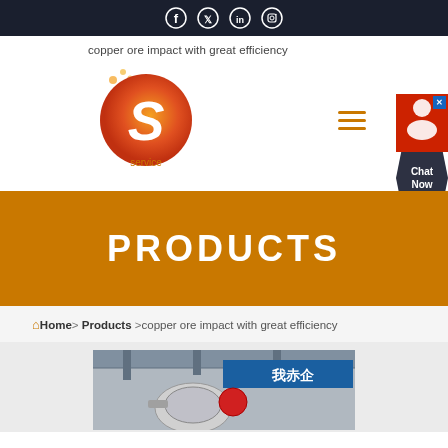Social media icons: Facebook, Twitter, LinkedIn, Instagram
copper ore impact with great efficiency
[Figure (logo): Company logo: stylized letter S in orange/red circle with service text below]
PRODUCTS
Home > Products > copper ore impact with great efficiency
[Figure (photo): Industrial machinery photo inside a factory with Chinese signage]